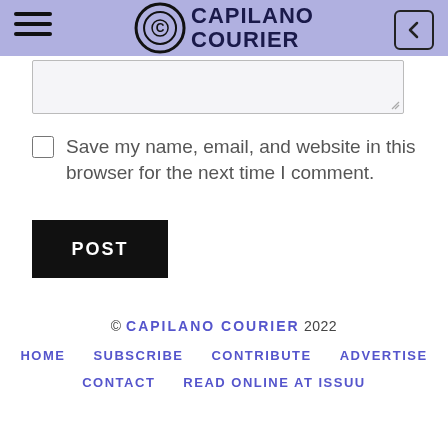Capilano Courier
Save my name, email, and website in this browser for the next time I comment.
POST
© CAPILANO COURIER 2022 | HOME | SUBSCRIBE | CONTRIBUTE | ADVERTISE | CONTACT | READ ONLINE AT ISSUU